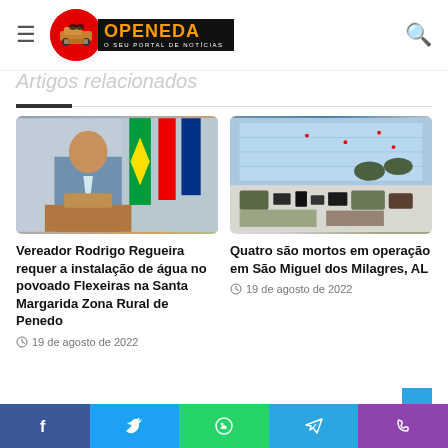OPENEDA - O SEU PORTAL DE NOTICIAS
Artigos relacionados
[Figure (photo): Politician in suit standing at podium with Brazilian flags in background]
Vereador Rodrigo Regueira requer a instalação de água no povoado Flexeiras na Santa Margarida Zona Rural de Penedo
19 de agosto de 2022
[Figure (photo): Military equipment and gear laid out on table, soldiers visible with map on wall in background]
Quatro são mortos em operação em São Miguel dos Milagres, AL
19 de agosto de 2022
Social sharing bar: Facebook, Twitter, WhatsApp, Telegram, Phone